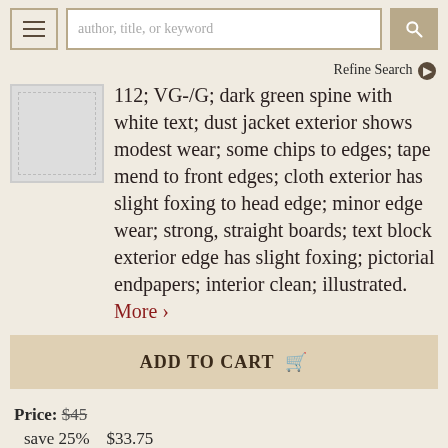navigation bar with hamburger menu, search field (author, title, or keyword), search button
Refine Search ❯
[Figure (illustration): Book thumbnail placeholder image with dashed border]
112; VG-/G; dark green spine with white text; dust jacket exterior shows modest wear; some chips to edges; tape mend to front edges; cloth exterior has slight foxing to head edge; minor edge wear; strong, straight boards; text block exterior edge has slight foxing; pictorial endpapers; interior clean; illustrated. More ›
ADD TO CART 🛒
Price: $45
save 25%   $33.75
Item Details
Ask a Question